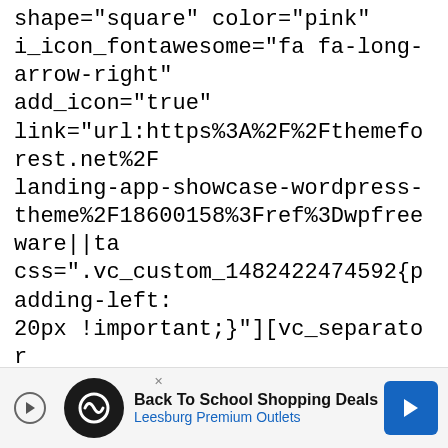shape="square" color="pink" i_icon_fontawesome="fa fa-long-arrow-right" add_icon="true" link="url:https%3A%2F%2Fthemeforest.net%2Flanding-app-showcase-wordpress-theme%2F18600158%3Fref%3Dwpfreeware||ta css=".vc_custom_1482422474592{padding-left: 20px !important;}"][vc_separator css=".vc_custom_1481465649110{margin-top: 40px !important;}"][/vc_column][/vc_row] [vc_row full_width="stretch_row" css=".vc_custom_1481460259617{margin-top: 30px !important;}"][vc_column] [vc_custom_heading text="Campfire"
[Figure (other): Advertisement banner for Back To School Shopping Deals at Leesburg Premium Outlets with navigation arrow button]